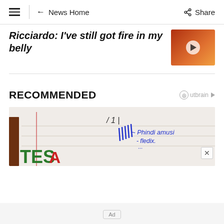≡ | ← News Home   Share
Ricciardo: I've still got fire in my belly
[Figure (photo): Thumbnail photo of Daniel Ricciardo smiling, wearing orange McLaren race suit, with play button overlay]
RECOMMENDED
[Figure (photo): Close-up photo of a document or paper with handwritten blue ink signature/notes and partial view of green and red lettering (TES...) at the bottom left, with a dark brown border on the left edge]
Ad